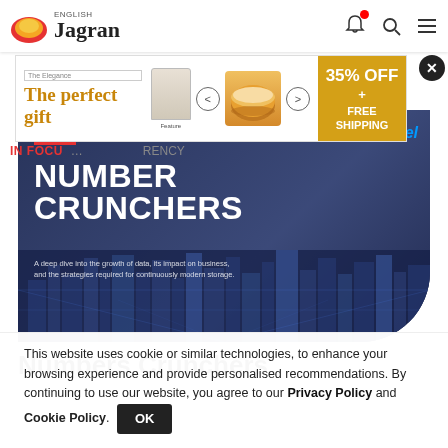English Jagran
[Figure (infographic): Advertisement banner: The perfect gift - 35% OFF + FREE SHIPPING]
IN FOCUS
[Figure (infographic): CIO Number Crunchers hero banner with Dell and Intel branding. Text reads: NUMBER CRUNCHERS. A deep dive into the growth of data, its impact on business, and the strategies required for continuously modern storage. City skyline background.]
Numbers Crunchers
This website uses cookie or similar technologies, to enhance your browsing experience and provide personalised recommendations. By continuing to use our website, you agree to our Privacy Policy and Cookie Policy.